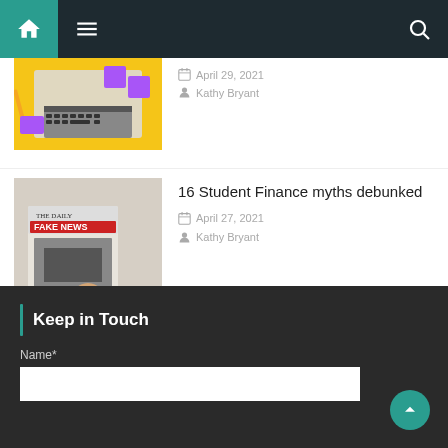Navigation bar with home, menu, search icons
April 29, 2021
Kathy Bryant
16 Student Finance myths debunked
April 27, 2021
Kathy Bryant
Keep in Touch
Name*